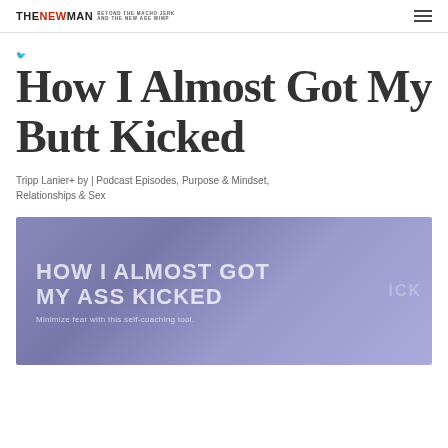THE NEW MAN BEYOND THE MACHO JERK AND THE NEW AGE WIMP
How I Almost Got My Butt Kicked
Tripp Lanier+ by | Podcast Episodes, Purpose & Mindset, Relationships & Sex
[Figure (illustration): Thumbnail image with purple/blue gradient background showing text 'HOW I ALMOST GOT MY ASS KICKED' in large bold white letters, with subtitle 'Minimize fear with this self-coaching tool' in smaller text, and faded overlay text in background]